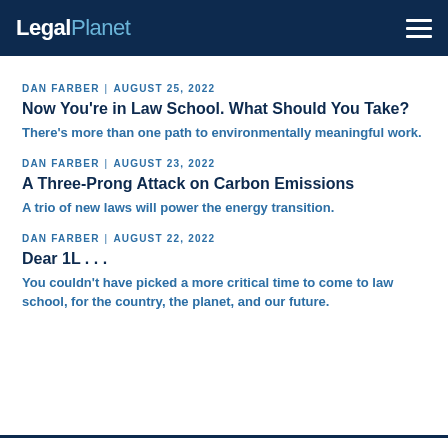LegalPlanet
DAN FARBER | AUGUST 25, 2022
Now You're in Law School. What Should You Take?
There's more than one path to environmentally meaningful work.
DAN FARBER | AUGUST 23, 2022
A Three-Prong Attack on Carbon Emissions
A trio of new laws will power the energy transition.
DAN FARBER | AUGUST 22, 2022
Dear 1L . . .
You couldn't have picked a more critical time to come to law school, for the country, the planet, and our future.